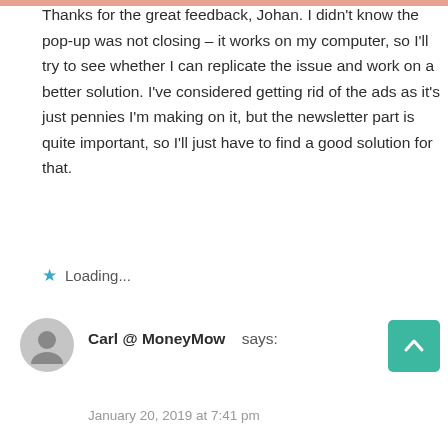Thanks for the great feedback, Johan. I didn't know the pop-up was not closing – it works on my computer, so I'll try to see whether I can replicate the issue and work on a better solution. I've considered getting rid of the ads as it's just pennies I'm making on it, but the newsletter part is quite important, so I'll just have to find a good solution for that.
Loading...
Carl @ MoneyMow says:
January 20, 2019 at 7:41 pm